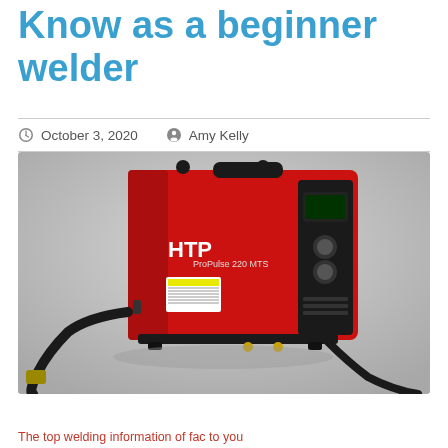Know as a beginner welder
October 3, 2020   Amy Kelly
[Figure (photo): HTP ProPulse 220 MTS red and black MIG/multi-process welder machine on grey background]
The top welding information of fac to you